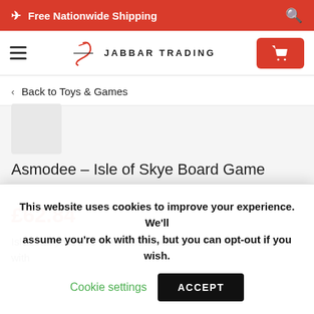✈ Free Nationwide Shipping
[Figure (logo): Jabbar Trading logo with stylized 'J' and text JABBAR TRADING]
‹ Back to Toys & Games
Asmodee – Isle of Skye Board Game
£62.84
Isle of Skye is one of the most beautiful places in the world, with
This website uses cookies to improve your experience. We'll assume you're ok with this, but you can opt-out if you wish. Cookie settings ACCEPT